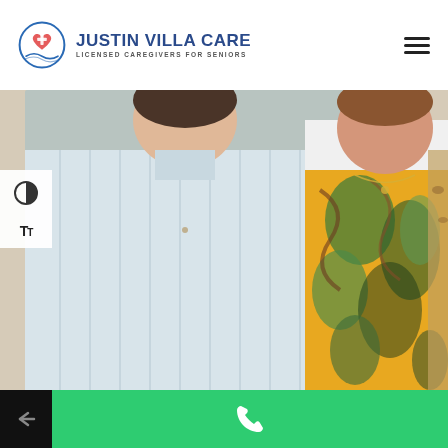[Figure (logo): Justin Villa Care logo with circular icon featuring a heart and cross symbol with wave/hands motif in blue and red, beside the text 'Justin Villa Care' in dark blue bold uppercase and 'Licensed Caregivers for Seniors' in gray uppercase below]
[Figure (photo): Two people posing together indoors — one in a light blue striped short-sleeve button-down shirt and jeans, the other in a colorful green, yellow, black and white floral patterned top with a yellow underlayer and a necklace]
[Figure (other): Green phone/call button bar at the bottom with a white phone handset icon; black bar at bottom left with a left arrow icon; white accessibility controls panel on the left side with contrast toggle (half-circle icon) and text size toggle (TT icon)]